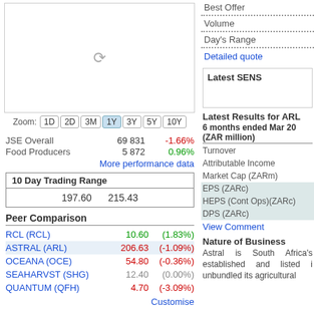[Figure (other): Stock price chart area with loading spinner]
Zoom: 1D 2D 3M 1Y 3Y 5Y 10Y
JSE Overall   69 831   -1.66%
Food Producers   5 872   0.96%
More performance data
| 10 Day Trading Range |  |  |
| --- | --- | --- |
|  | 197.60 | 215.43 |
Peer Comparison
RCL (RCL)   10.60   (1.83%)
ASTRAL (ARL)   206.63   (-1.09%)
OCEANA (OCE)   54.80   (-0.36%)
SEAHARVST (SHG)   12.40   (0.00%)
QUANTUM (QFH)   4.70   (-3.09%)
Customise
Best Offer
Volume
Day's Range
Detailed quote
Latest SENS
Latest Results for ARL
6 months ended Mar 20
(ZAR million)
Turnover
Attributable Income
Market Cap (ZARm)
EPS (ZARc)
HEPS (Cont Ops)(ZARc)
DPS (ZARc)
View Comment
Nature of Business
Astral is South Africa's established and listed i unbundled its agricultural